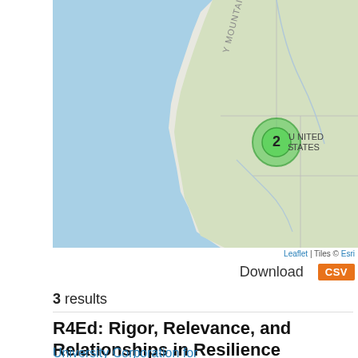[Figure (map): Interactive Leaflet map showing western United States coastline with a green cluster marker labeled '2' positioned over the western US region. Map tiles credited to Esri.]
Leaflet | Tiles © Esri
Download CSV
3 results
R4Ed: Rigor, Relevance, and Relationships in Resilience Education
University Corporation for Atmospheric Research (UCAR)